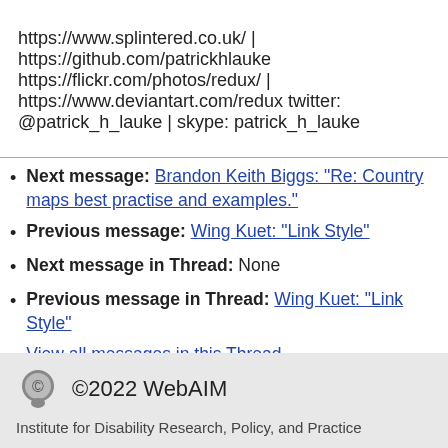https://www.splintered.co.uk/ | https://github.com/patrickhlauke https://flickr.com/photos/redux/ | https://www.deviantart.com/redux twitter: @patrick_h_lauke | skype: patrick_h_lauke
Next message: Brandon Keith Biggs: "Re: Country maps best practise and examples."
Previous message: Wing Kuet: "Link Style"
Next message in Thread: None
Previous message in Thread: Wing Kuet: "Link Style"
View all messages in this Thread
©2022 WebAIM — Institute for Disability Research, Policy, and Practice